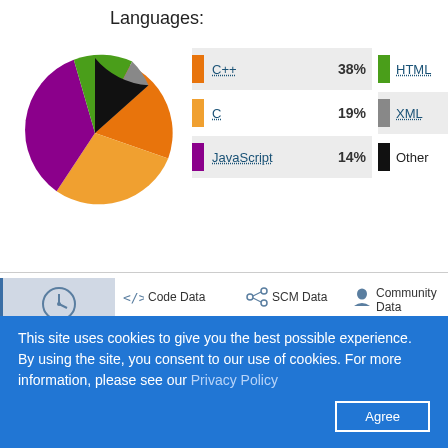Languages:
[Figure (pie-chart): Languages]
C++ 38%
C 19%
JavaScript 14%
HTML
XML
Other
[Figure (infographic): Navigation menu with Project Summary, Code Data (Languages, Cost Estimates, Security), SCM Data (Commits, Contributors), Community Data (Users, Ratings & Reviews, User & Contributor Locations), News, Settings, Sharing Widgets]
This site uses cookies to give you the best possible experience. By using the site, you consent to our use of cookies. For more information, please see our Privacy Policy